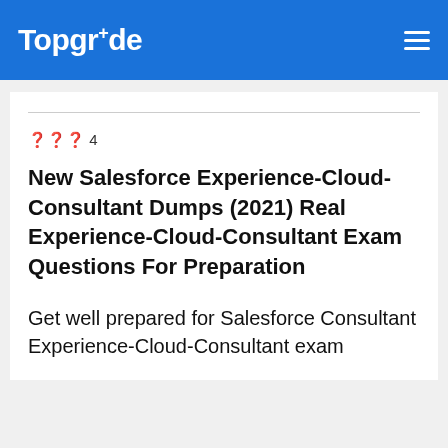TopgrAde
??? 4
New Salesforce Experience-Cloud-Consultant Dumps (2021) Real Experience-Cloud-Consultant Exam Questions For Preparation
Get well prepared for Salesforce Consultant Experience-Cloud-Consultant exam